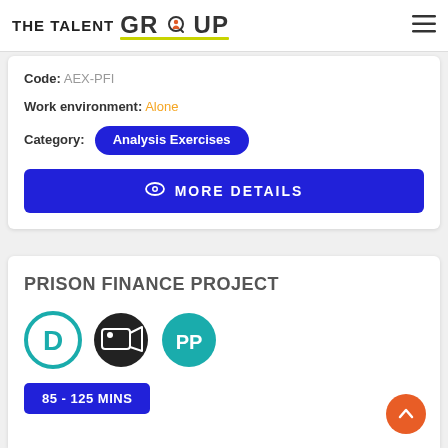THE TALENT GROUP
Code: AEX-PFI
Work environment: Alone
Category: Analysis Exercises
MORE DETAILS
PRISON FINANCE PROJECT
85 - 125 MINS